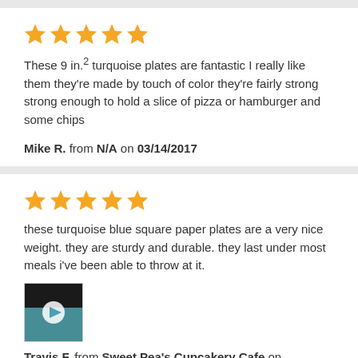[Figure (other): 5 gold stars rating]
These 9 in.² turquoise plates are fantastic I really like them they're made by touch of color they're fairly strong strong enough to hold a slice of pizza or hamburger and some chips
Mike R. from N/A on 03/14/2017
[Figure (other): 5 gold stars rating]
these turquoise blue square paper plates are a very nice weight. they are sturdy and durable. they last under most meals i've been able to throw at it.
[Figure (photo): Thumbnail image of turquoise plate with play button overlay]
Travis F. from Sweet Pea's Cupcakery Cafe on 01/31/2017